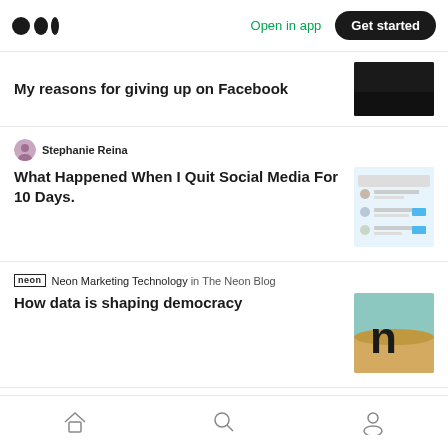Medium — Open in app — Get started
My reasons for giving up on Facebook
Stephanie Reina
What Happened When I Quit Social Media For 10 Days.
Neon Marketing Technology in The Neon Blog
How data is shaping democracy
Ana Guerra in Marketing And Growth Hacking
Your Instagram Stories Probably Suck
Nandhini Swaminathan
Home · Search · Profile